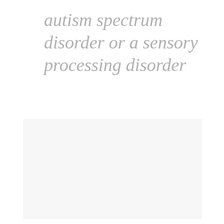autism spectrum disorder or a sensory processing disorder
[Figure (photo): Light gray blank rectangular image placeholder area]